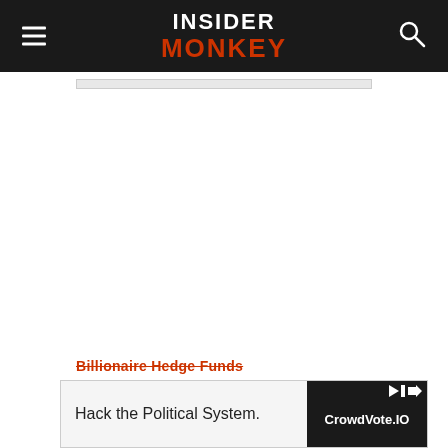INSIDER MONKEY
[Figure (screenshot): Light gray ad/content strip below nav bar]
Billionaire Hedge Funds
[Figure (screenshot): Bottom advertisement overlay: 'Hack the Political System.' with CrowdVote.IO logo on dark background, close button (X) in top-right corner]